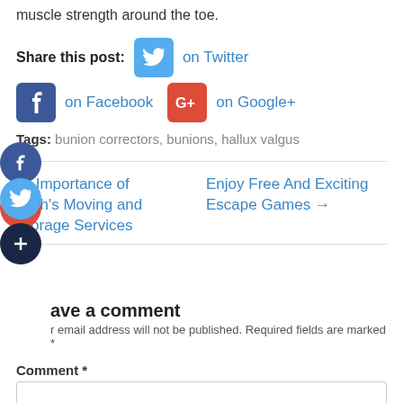muscle strength around the toe.
Share this post: [Twitter icon] on Twitter [Facebook icon] on Facebook [Google+ icon] on Google+
Tags: bunion correctors, bunions, hallux valgus
← Importance of leigh's Moving and Storage Services
Enjoy Free And Exciting Escape Games →
Leave a comment
Your email address will not be published. Required fields are marked *
Comment *